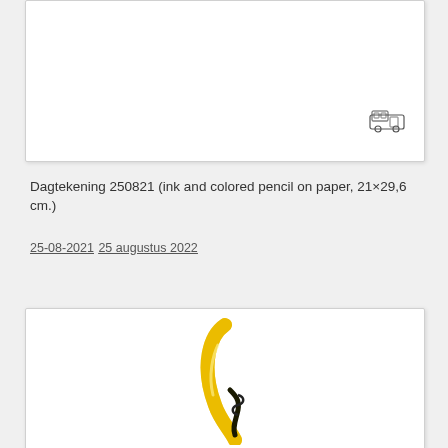[Figure (illustration): White card/paper area with a small stamp-like icon in the bottom right corner, showing what appears to be a small vehicle or camper illustration]
Dagtekening 250821 (ink and colored pencil on paper, 21×29,6 cm.)
25-08-2021
25 augustus 2022
[Figure (illustration): White card area with a partial illustration of a banana or yellow curved shape with what appears to be a corkscrew or tool, drawn in yellow and black, visible at the bottom center of the card]